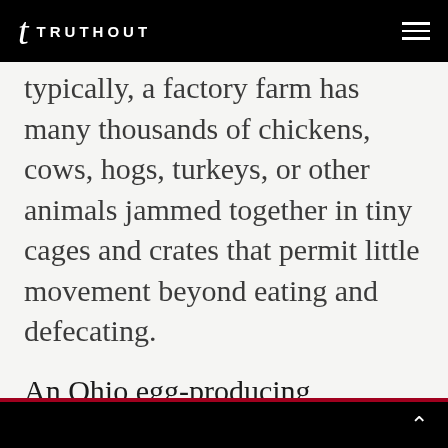t TRUTHOUT
typically, a factory farm has many thousands of chickens, cows, hogs, turkeys, or other animals jammed together in tiny cages and crates that permit little movement beyond eating and defecating.
An Ohio egg-producing operation, for example, was found to have four million birds “living” six to a cage. The cages were no bigger than an open newspaper, giving each one a space of roughly eight inches by eight inches. For life.